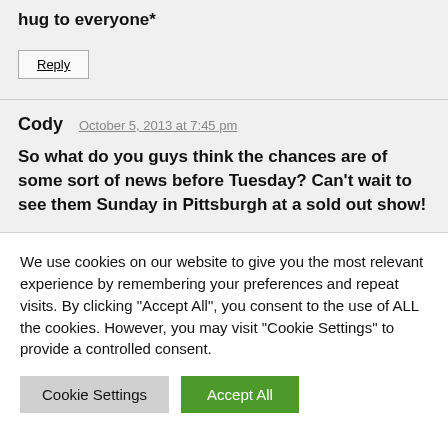hug to everyone*
Reply
Cody   October 5, 2013 at 7:45 pm
So what do you guys think the chances are of some sort of news before Tuesday? Can't wait to see them Sunday in Pittsburgh at a sold out show!
We use cookies on our website to give you the most relevant experience by remembering your preferences and repeat visits. By clicking "Accept All", you consent to the use of ALL the cookies. However, you may visit "Cookie Settings" to provide a controlled consent.
Cookie Settings
Accept All